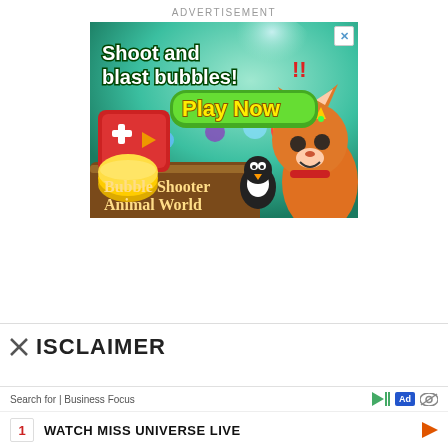ADVERTISEMENT
[Figure (illustration): Mobile game advertisement for 'Bubble Shooter Animal World'. Teal/green gradient background with cartoon animals (fox and penguin), colorful bubbles, a red game controller icon, gold coins, and text reading 'Shoot and blast bubbles!' with a green 'Play Now' button and red exclamation marks.]
DISCLAIMER
Search for | Business Focus
1  WATCH MISS UNIVERSE LIVE